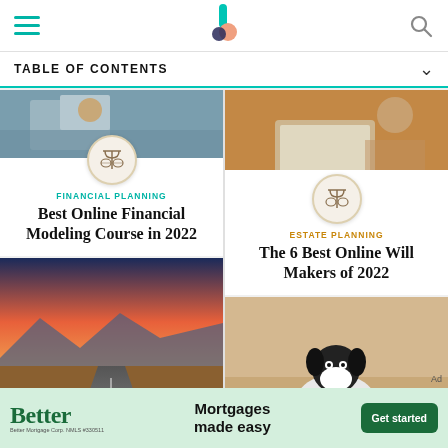Navigation header with hamburger menu, logo, and search icon
TABLE OF CONTENTS
[Figure (photo): Person at desk — partially cropped at top of left card]
FINANCIAL PLANNING
Best Online Financial Modeling Course in 2022
[Figure (photo): Person in orange sweater using laptop — right column top]
ESTATE PLANNING
The 6 Best Online Will Makers of 2022
[Figure (photo): Motorcyclists on desert highway at sunset — bottom left]
[Figure (photo): Boston Terrier dog holding blue frisbee — bottom right]
[Figure (infographic): Advertisement: Better — Mortgages made easy — Get started]